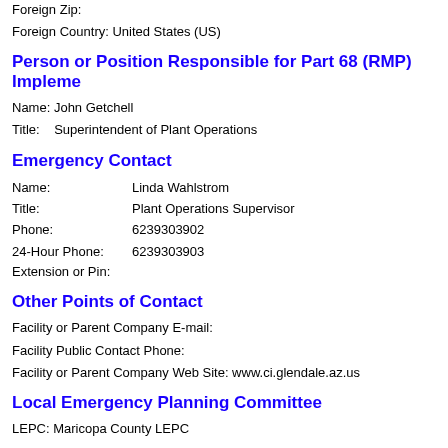Foreign Zip:
Foreign Country: United States (US)
Person or Position Responsible for Part 68 (RMP) Implementation
Name: John Getchell
Title:    Superintendent of Plant Operations
Emergency Contact
Name:           Linda Wahlstrom
Title:            Plant Operations Supervisor
Phone:           6239303902
24-Hour Phone:  6239303903
Extension or Pin:
Other Points of Contact
Facility or Parent Company E-mail:
Facility Public Contact Phone:
Facility or Parent Company Web Site: www.ci.glendale.az.us
Local Emergency Planning Committee
LEPC: Maricopa County LEPC
Full-Time Equivalent Employees